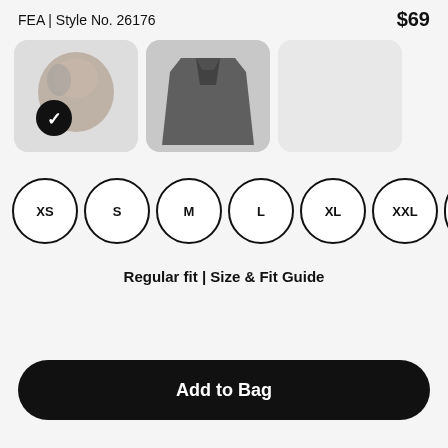FEA | Style No. 26176
$69
[Figure (photo): Three color swatch thumbnails of a jacket product. First swatch shows a grey/brown jacket with a black checkmark circle indicating selected. Second swatch shows a dark charcoal/black jacket. Third swatch is empty light grey.]
XS
S
M
L
XL
XXL
3X
Regular fit | Size & Fit Guide
Add to Bag